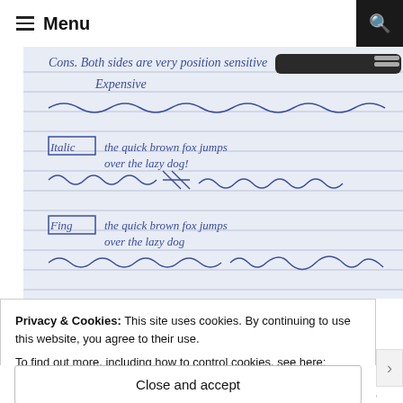Menu
[Figure (photo): A handwritten notebook page with blue ink. Text reads: 'Cons. Both sides are very position sensitive. Expensive.' Below are wavy practice lines, then '[ITALIC] the quick brown fox jumps over the lazy dog!' with more practice strokes and figure-8 exercises, then '[FING] the quick brown fox jumps over the lazy dog' with more cursive practice strokes. A dark pen rests on the upper right of the page.]
Privacy & Cookies: This site uses cookies. By continuing to use this website, you agree to their use.
To find out more, including how to control cookies, see here: Cookie Policy
Close and accept